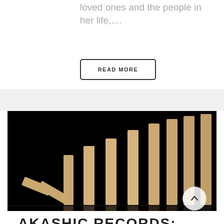loved ones and the people in her life,....
READ MORE
[Figure (photo): Wooden domino blocks standing in a row on a reflective black surface, with the first two fallen, showing a domino effect sequence. Blocks increase in height from left to right.]
AKASHIC RECORDS: